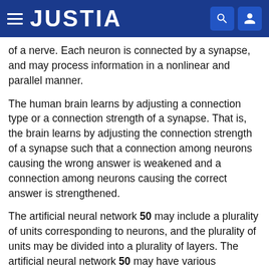JUSTIA
of a nerve. Each neuron is connected by a synapse, and may process information in a nonlinear and parallel manner.
The human brain learns by adjusting a connection type or a connection strength of a synapse. That is, the brain learns by adjusting the connection strength of a synapse such that a connection among neurons causing the wrong answer is weakened and a connection among neurons causing the correct answer is strengthened.
The artificial neural network 50 may include a plurality of units corresponding to neurons, and the plurality of units may be divided into a plurality of layers. The artificial neural network 50 may have various structures. For example, in units of the artificial neural network 50, only units included in adjacent layers may be connected according to a structure of a restricted Boltzmann